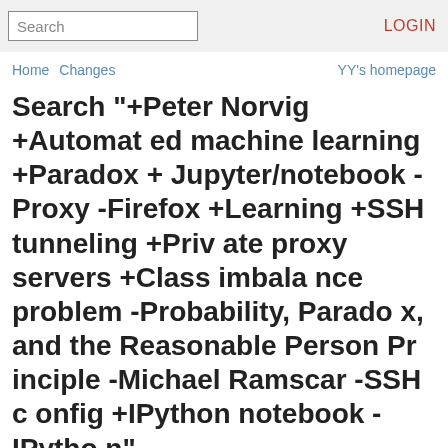Search | LOGIN
Home  Changes  YY's homepage
Search "+Peter Norvig +Automated machine learning +Paradox +Jupyter/notebook -Proxy -Firefox +Learning +SSH tunneling +Private proxy servers +Class imbalance problem -Probability, Paradox, and the Reasonable Person Principle -Michael Ramscar -SSH config +IPython notebook -IPython"
Pages related to: